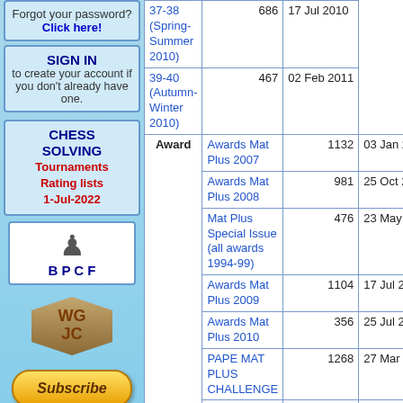Forgot your password? Click here!
SIGN IN to create your account if you don't already have one.
CHESS SOLVING Tournaments Rating lists 1-Jul-2022
[Figure (logo): BPCF chess piece logo with text B P C F]
[Figure (logo): WGC puzzle logo - brown 3D puzzle piece]
[Figure (illustration): Subscribe button with PayPal styling and credit card icons (AMEX, Mastercard, VISA, Discover)]
| Category | Title | Count | Date |
| --- | --- | --- | --- |
|  | 37-38 (Spring-Summer 2010) | 686 | 17 Jul 2010 |
|  | 39-40 (Autumn-Winter 2010) | 467 | 02 Feb 2011 |
| Award | Awards Mat Plus 2007 | 1132 | 03 Jan 2009 |
|  | Awards Mat Plus 2008 | 981 | 25 Oct 2009 |
|  | Mat Plus Special Issue (all awards 1994-99) | 476 | 23 May 2010 |
|  | Awards Mat Plus 2009 | 1104 | 17 Jul 2010 |
|  | Awards Mat Plus 2010 | 356 | 25 Jul 2011 |
|  | PAPE MAT PLUS CHALLENGE | 1268 | 27 Mar 2014 |
|  | Mat Plus 43 awards | 620 | 01 May 2015 |
|  | Fairies 2010 | 474 | 08 Oct 2015 |
|  | Milan Velimirovic 64 Memorial Tourney | 1880 | 04 Oct 2016 |
| Index | Index MP & MPR 2007 | 182 | 19 Feb 2009 |
|  | Index MP & | 181 | 19 Feb 2009 |